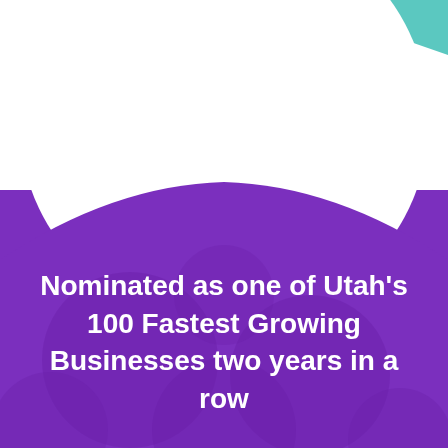[Figure (illustration): Decorative page with teal triangle in top right, large white circle/arc in upper center, and a purple gradient background with subtle circular pattern in the bottom half. A curved wave separates the white upper area from the purple lower area.]
Nominated as one of Utah's 100 Fastest Growing Businesses two years in a row